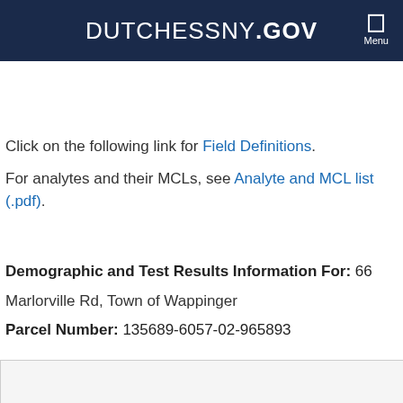DUTCHESSNY.GOV  Menu
Click on the following link for Field Definitions.
For analytes and their MCLs, see Analyte and MCL list (.pdf).
Demographic and Test Results Information For: 66
Marlorville Rd, Town of Wappinger
Parcel Number: 135689-6057-02-965893